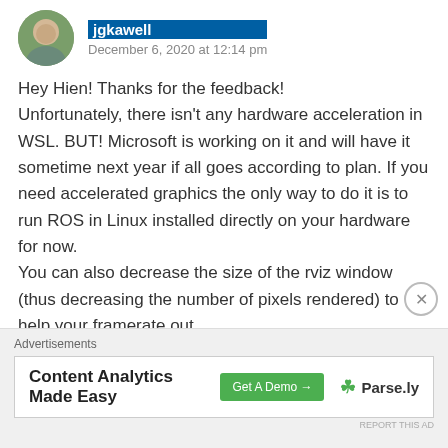jgkawell — December 6, 2020 at 12:14 pm
Hey Hien! Thanks for the feedback!
Unfortunately, there isn't any hardware acceleration in WSL. BUT! Microsoft is working on it and will have it sometime next year if all goes according to plan. If you need accelerated graphics the only way to do it is to run ROS in Linux installed directly on your hardware for now.
You can also decrease the size of the rviz window (thus decreasing the number of pixels rendered) to help your framerate out.
[Figure (other): Advertisement banner: Content Analytics Made Easy — Get A Demo button — Parse.ly logo]